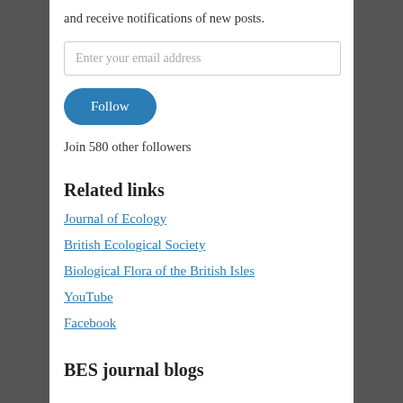and receive notifications of new posts.
Enter your email address
Follow
Join 580 other followers
Related links
Journal of Ecology
British Ecological Society
Biological Flora of the British Isles
YouTube
Facebook
BES journal blogs